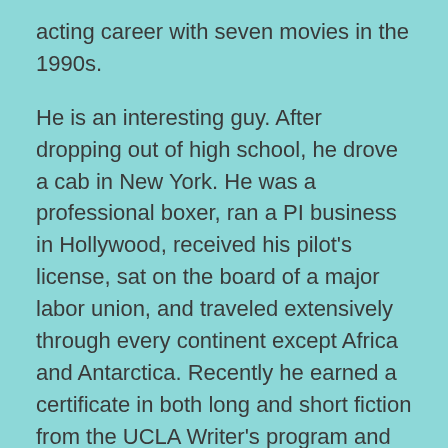acting career with seven movies in the 1990s.
He is an interesting guy. After dropping out of high school, he drove a cab in New York. He was a professional boxer, ran a PI business in Hollywood, received his pilot’s license, sat on the board of a major labor union, and traveled extensively through every continent except Africa and Antarctica. Recently he earned a certificate in both long and short fiction from the UCLA Writer’s program and has written a novel, The Star Shield, about a body guard trying to rescue a kidnapped movie star. Currently he is working on a collection of short stories.
The role of Frankie was played by two different actors, Bill Beyers in 1978 and Lloyd Alan in 1979.